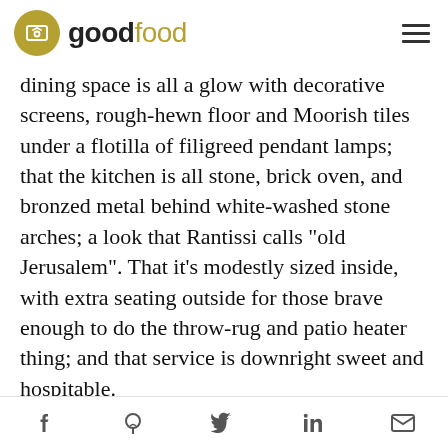goodfood
dining space is all a glow with decorative screens, rough-hewn floor and Moorish tiles under a flotilla of filigreed pendant lamps; that the kitchen is all stone, brick oven, and bronzed metal behind white-washed stone arches; a look that Rantissi calls "old Jerusalem". That it's modestly sized inside, with extra seating outside for those brave enough to do the throw-rug and patio heater thing; and that service is downright sweet and hospitable.
What else? Rantissi's cooking is rich and forthright; he keeps accompaniments simple and precise rather than decorative or cheffy. Flavour notes are big at weekday lunches and dinners: tahini, walnuts, coriander, pomegranate, eggplant, haloumi,
f  P  twitter  in  mail